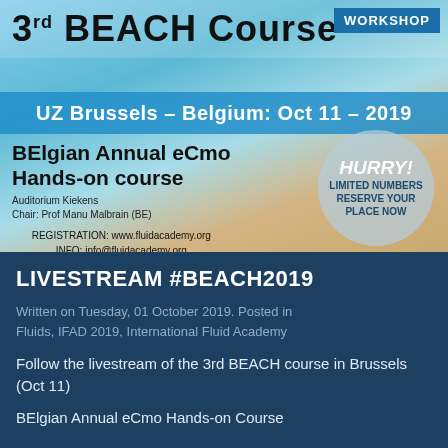[Figure (illustration): Banner for 3rd BEACH Course Workshop event at UZ Brussels, Belgium on Oct 11, 2019. Shows beach background with palm tree, blue sky, sea and sand. Contains title '3rd BEACH Course', workshop badge, blue bar with date, course details, hurry circle badge, and registration info.]
LIVESTREAM #BEACH2019
Written on Tuesday, 01 October 2019. Posted in Fluids, IFAD 2019, International Fluid Academy
Follow the livestream of the 3rd BEACH course in Brussels (Oct 11)
BElgian Annual eCmo Hands-on Course